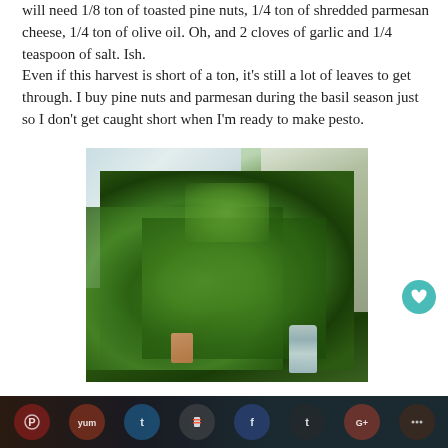will need 1/8 ton of toasted pine nuts, 1/4 ton of shredded parmesan cheese, 1/4 ton of olive oil.  Oh, and 2 cloves of garlic and 1/4 teaspoon of salt. Ish.
Even if this harvest is short of a ton, it's still a lot of leaves to get through.  I buy pine nuts and parmesan during the basil season just so I don't get caught short when I'm ready to make pesto.
[Figure (photo): A large bunch of fresh green basil and herbs on a windowsill, with a glass bottle and small label tag visible at the bottom, curtains in the background]
Social sharing bar with icons: Pinterest, Yummly, Twitter, Flipboard, Facebook, Tumblr, Google+, and more